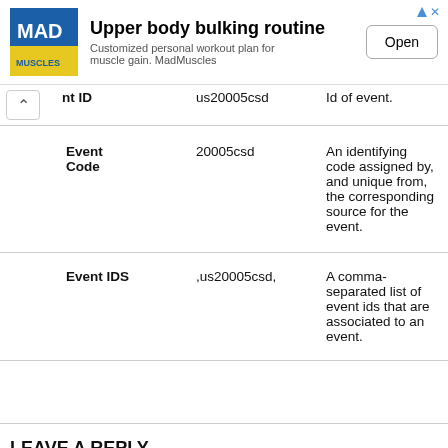[Figure (other): Advertisement banner for MadMuscles app showing 'Upper body bulking routine' with logo, subtitle, and Open button]
| Field | Example | Description |
| --- | --- | --- |
| nt ID | us20005csd | Id of event. |
| Event Code | 20005csd | An identifying code assigned by, and unique from, the corresponding source for the event. |
| Event IDS | ,us20005csd, | A comma-separated list of event ids that are associated to an event. |
LEAVE A REPLY